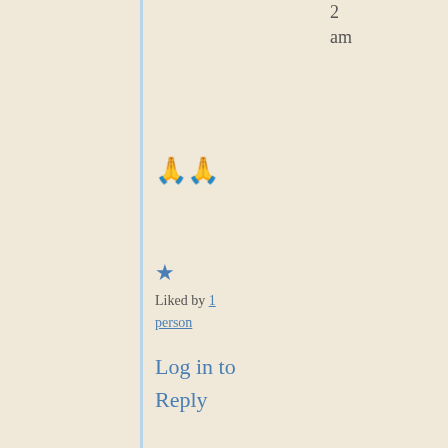2
am
🙏🙏
★ Liked by 1 person
Log in to Reply
Jeff Flesch
March 7, 2022 at 7:11 am
A wonderful review, Sadje. Reads like a great book.
★ Liked by 1 person